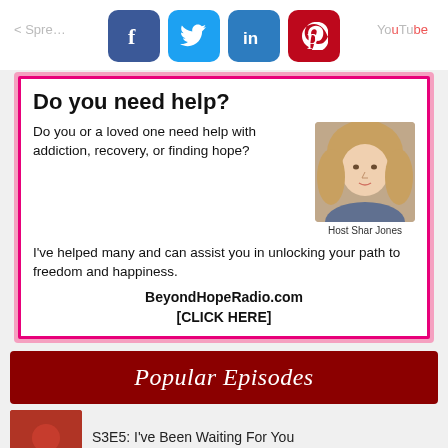[Figure (screenshot): Social media share buttons: Facebook, Twitter, LinkedIn, Pinterest]
Do you need help?
Do you or a loved one need help with addiction, recovery, or finding hope?
I've helped many and can assist you in unlocking your path to freedom and happiness.
BeyondHopeRadio.com [CLICK HERE]
[Figure (photo): Photo of Host Shar Jones]
Popular Episodes
S3E5: I've Been Waiting For You